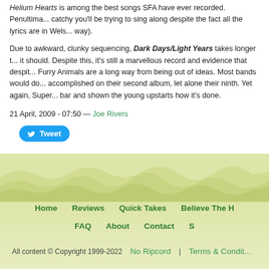Helium Hearts is among the best songs SFA have ever recorded. Penultimate... catchy you'll be trying to sing along despite the fact all the lyrics are in Welsh... way).
Due to awkward, clunky sequencing, Dark Days/Light Years takes longer than it should. Despite this, it's still a marvellous record and evidence that despite... Furry Animals are a long way from being out of ideas. Most bands would do... accomplished on their second album, let alone their ninth. Yet again, Super... bar and shown the young upstarts how it's done.
21 April, 2009 - 07:50 — Joe Rivers
[Figure (other): Tweet button with Twitter bird icon]
Home | Reviews | Quick Takes | Believe The H | FAQ | About | Contact | S | All content © Copyright 1999-2022 No Ripcord | Terms & Condit...